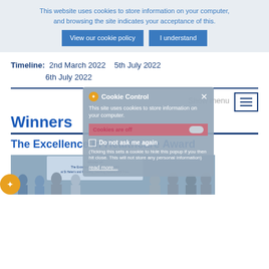This website uses cookies to store information on your computer, and browsing the site indicates your acceptance of this.
View our cookie policy   I understand
Timeline:  2nd March 2022   5th July 2022   6th July 2022
Show menu
Winners
The Excellence in Healthcare Award
[Figure (photo): Group photo of people at a healthcare awards ceremony with a screen showing 'Winner of The Excellence in Healthcare Award at St Helen's and Knowsley Teaching Hospital NHS Trust']
Cookie Control
This site uses cookies to store information on your computer.
Cookies are off
Do not ask me again
(Ticking this sets a cookie to hide this popup if you then hit close. This will not store any personal information)
read more...